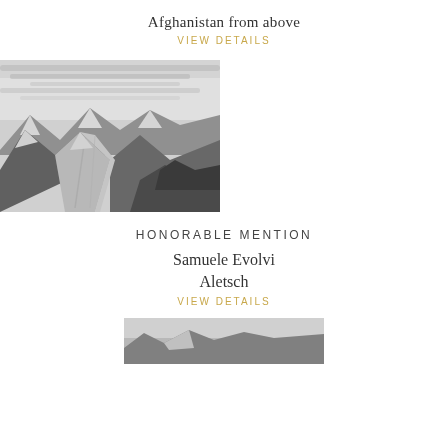Afghanistan from above
VIEW DETAILS
[Figure (photo): Black and white landscape photo of a glacier valley with mountain peaks, rocky foreground, and streaky cloudy sky — likely Aletsch Glacier.]
HONORABLE MENTION
Samuele Evolvi
Aletsch
VIEW DETAILS
[Figure (photo): Partial black and white landscape photo visible at the bottom of the page.]